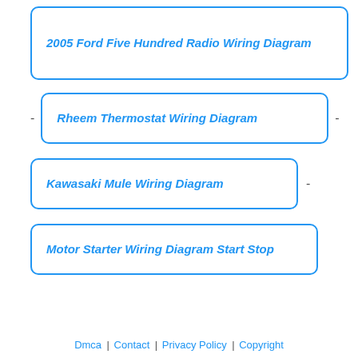2005 Ford Five Hundred Radio Wiring Diagram
Rheem Thermostat Wiring Diagram
Kawasaki Mule Wiring Diagram
Motor Starter Wiring Diagram Start Stop
Dmca | Contact | Privacy Policy | Copyright